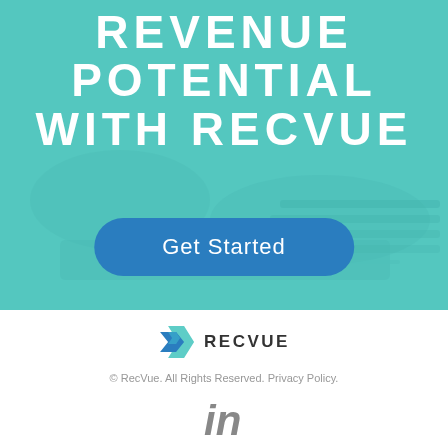[Figure (photo): Teal-tinted background photo of hands on a keyboard/desk with a teal overlay color wash, serving as the hero section background]
REVENUE POTENTIAL WITH RECVUE
Get Started
[Figure (logo): RecVue logo with two overlapping geometric arrow/chevron shapes in teal and blue colors, followed by the text RECVUE in bold dark letters]
© RecVue. All Rights Reserved. Privacy Policy.
[Figure (logo): LinkedIn 'in' icon in gray]